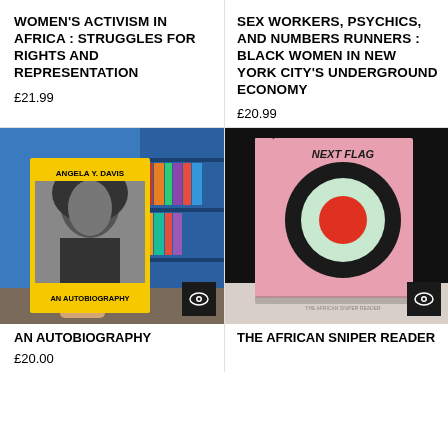WOMEN'S ACTIVISM IN AFRICA : STRUGGLES FOR RIGHTS AND REPRESENTATION
£21.99
SEX WORKERS, PSYCHICS, AND NUMBERS RUNNERS : BLACK WOMEN IN NEW YORK CITY'S UNDERGROUND ECONOMY
£20.99
[Figure (photo): A hand holding a book titled 'AN AUTOBIOGRAPHY' by Angela Y. Davis, with a black and white photo of Angela Davis on the cover with a yellow border. Background shows a bookstore interior.]
[Figure (photo): A pink hardcover book titled 'NEXT FLAG' with a concentric circle target design in black, white/mint, and red on the cover. Dark background.]
AN AUTOBIOGRAPHY
£20.00
THE AFRICAN SNIPER READER